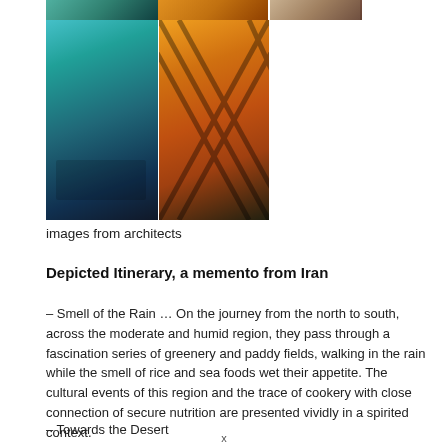[Figure (photo): Grid of photos: teal architectural interior with silhouetted figures, orange diamond-patterned fence, and partial food image at top right]
images from architects
Depicted Itinerary, a memento from Iran
– Smell of the Rain … On the journey from the north to south, across the moderate and humid region, they pass through a fascination series of greenery and paddy fields, walking in the rain while the smell of rice and sea foods wet their appetite. The cultural events of this region and the trace of cookery with close connection of secure nutrition are presented vividly in a spirited context.
– Towards the Desert
x